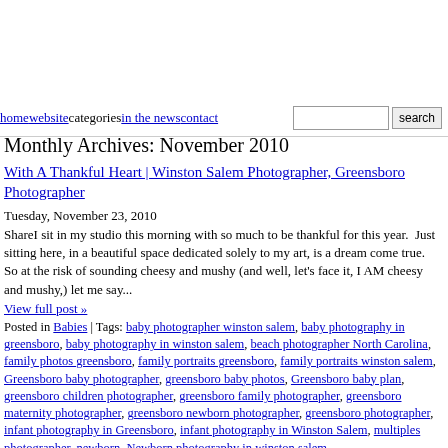home | website | categories | in the news | contact | [search]
Monthly Archives: November 2010
With A Thankful Heart | Winston Salem Photographer, Greensboro Photographer
Tuesday, November 23, 2010
ShareI sit in my studio this morning with so much to be thankful for this year.  Just sitting here, in a beautiful space dedicated solely to my art, is a dream come true.  So at the risk of sounding cheesy and mushy (and well, let's face it, I AM cheesy and mushy,) let me say...
View full post »
Posted in Babies | Tags: baby photographer winston salem, baby photography in greensboro, baby photography in winston salem, beach photographer North Carolina, family photos greensboro, family portraits greensboro, family portraits winston salem, Greensboro baby photographer, greensboro baby photos, Greensboro baby plan, greensboro children photographer, greensboro family photographer, greensboro maternity photographer, greensboro newborn photographer, greensboro photographer, infant photography in Greensboro, infant photography in Winston Salem, multiples photographer, newborn, Newborn photography in winston salem